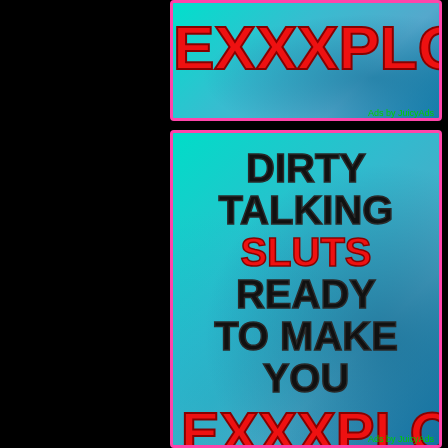[Figure (advertisement): Top ad banner (partially cut off) showing 'EXXXPLODE' in red bold text on cyan/teal feather background with pink border]
[Figure (advertisement): Middle ad banner: 'DIRTY TALKING SLUTS READY TO MAKE YOU EXXXPLODE' on cyan feather background with pink border and 'Ads by JuicyAds' label]
[Figure (advertisement): Bottom ad banner (partially cut off): 'DIRTY TALKING SLUTS READY TO MAKE YOU...' on cyan feather background with pink border and 'Ads by JuicyAds' label]